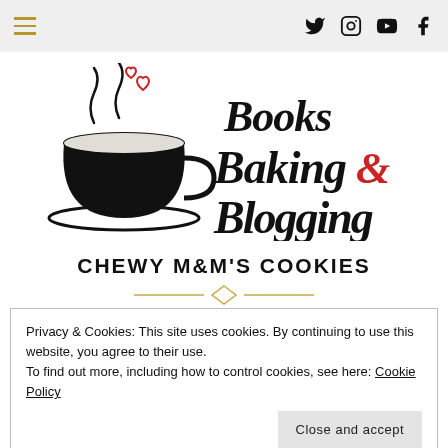Navigation bar with hamburger menu and social icons (Twitter, Instagram, YouTube, Facebook)
[Figure (logo): Books Baking & Blogging logo: teacup with steam hearts on left, decorative script text on right reading 'Books Baking & Blogging' with '&' in red]
CHEWY M&M'S COOKIES
Privacy & Cookies: This site uses cookies. By continuing to use this website, you agree to their use. To find out more, including how to control cookies, see here: Cookie Policy
Close and accept
About a week ago, I suddenly found myself feeling this